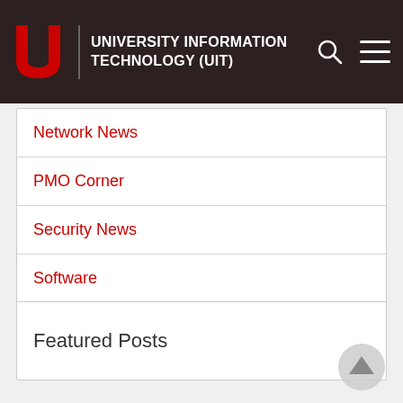University Information Technology (UIT)
Network News
PMO Corner
Security News
Software
UITL Spotlight
Featured Posts